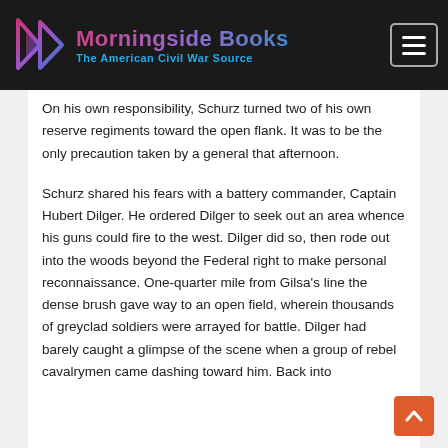Morningside Books — The American Civil War Source
On his own responsibility, Schurz turned two of his own reserve regiments toward the open flank. It was to be the only precaution taken by a general that afternoon.
Schurz shared his fears with a battery commander, Captain Hubert Dilger. He ordered Dilger to seek out an area whence his guns could fire to the west. Dilger did so, then rode out into the woods beyond the Federal right to make personal reconnaissance. One-quarter mile from Gilsa's line the dense brush gave way to an open field, wherein thousands of greyclad soldiers were arrayed for battle. Dilger had barely caught a glimpse of the scene when a group of rebel cavalrymen came dashing toward him. Back into